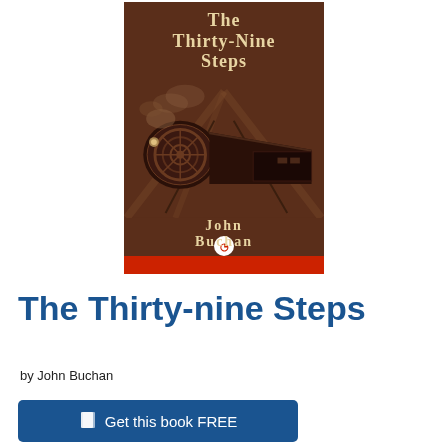[Figure (illustration): Book cover of 'The Thirty-Nine Steps' by John Buchan. Brown/sepia background with a sketched steam locomotive train. Title text in cream serif font at top, author name at bottom. Red bar at the bottom with a circular logo icon.]
The Thirty-nine Steps
by John Buchan
Get this book FREE